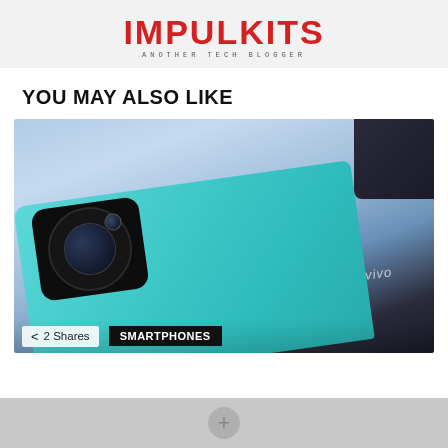IMPULKITS — ANOTHER TECH BLOGGER
YOU MAY ALSO LIKE
[Figure (photo): Back of a teal/turquoise Vivo smartphone with large circular camera module, placed on a dark surface against a blue background]
2 Shares  SMARTPHONES